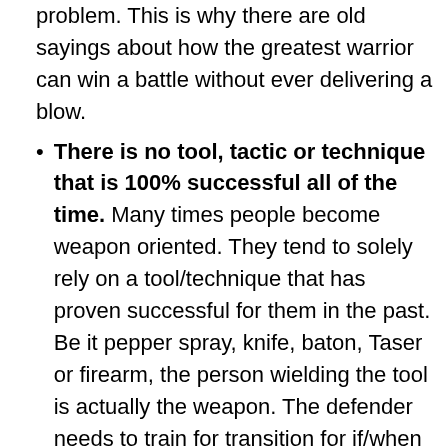problem. This is why there are old sayings about how the greatest warrior can win a battle without ever delivering a blow.
There is no tool, tactic or technique that is 100% successful all of the time. Many times people become weapon oriented. They tend to solely rely on a tool/technique that has proven successful for them in the past. Be it pepper spray, knife, baton, Taser or firearm, the person wielding the tool is actually the weapon. The defender needs to train for transition for if/when a tool fails (malfunction) or is not accessible.
Space equals time. Reaction is slower than action. Having or creating space gives us...